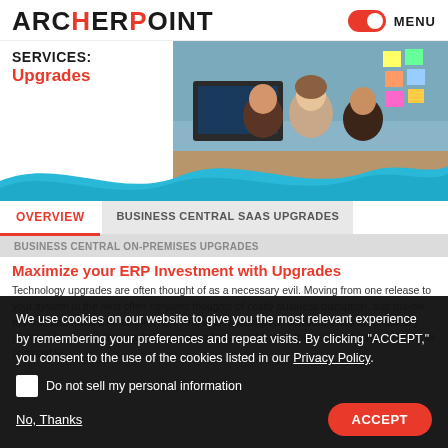ARCHERPOINT — MENU
SERVICES:
Upgrades
[Figure (photo): Three people looking at a computer monitor in an office environment]
OVERVIEW
BUSINESS CENTRAL SAAS UPGRADES
BUSINESS CENTRAL ON-PREMISES UPGRADES
Maximize your ERP Investment with Upgrades
Technology upgrades are often thought of as a necessary evil. Moving from one release to your system to the next often conjures thoughts of costly business disruption, and maybe even limited reward for all the effort. And even subscription software that's automatically updated can wreak havoc when customizations or add-on software are no longer in sync or compatible.
We use cookies on our website to give you the most relevant experience by remembering your preferences and repeat visits. By clicking "ACCEPT," you consent to the use of the cookies listed in our Privacy Policy.
Do not sell my personal information
No, Thanks
ACCEPT